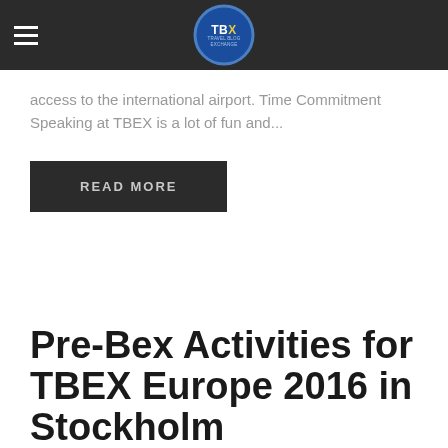TBEX navigation bar with hamburger menu and TBEX logo
access to the international airport. Time Commitment Speaking at TBEX is a lot of fun and...
READ MORE
Pre-Bex Activities for TBEX Europe 2016 in Stockholm